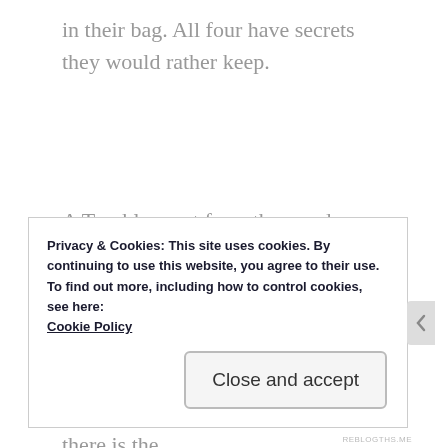in their bag. All four have secrets they would rather keep.
A Tumbler post from the murderer leaks reveals their secrets. Speculation spreads, from school to the local media, to worldwide interest. The four are brought together as they avoid dodge the media and insinuation, but always there is the
Privacy & Cookies: This site uses cookies. By continuing to use this website, you agree to their use.
To find out more, including how to control cookies, see here:
Cookie Policy
Close and accept